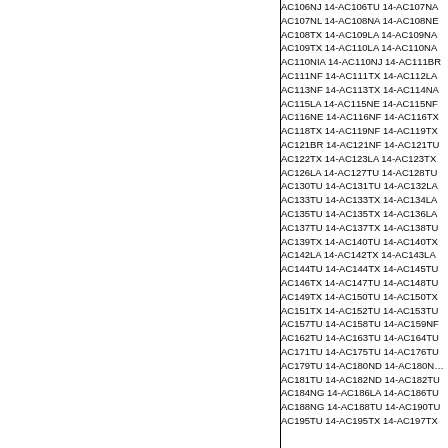AC106NJ 14-AC106TU 14-AC107NA AC107NL 14-AC108NA 14-AC108NE AC108TX 14-AC109LA 14-AC109NA AC109TX 14-AC110LA 14-AC110NA AC110NIA 14-AC110NJ 14-AC111BR AC111NF 14-AC111TX 14-AC112LA AC113NF 14-AC113TX 14-AC114NA AC115LA 14-AC115NE 14-AC115NF AC116NE 14-AC116NF 14-AC116TX AC118TX 14-AC119NF 14-AC119TX AC121BR 14-AC121NF 14-AC121TU AC122TX 14-AC123LA 14-AC123TX AC126LA 14-AC127TU 14-AC128TU AC130TU 14-AC131TU 14-AC132LA AC133TU 14-AC133TX 14-AC134LA AC135TU 14-AC135TX 14-AC136LA AC137TU 14-AC137TX 14-AC138TU AC139TX 14-AC140TU 14-AC140TX AC142LA 14-AC142TX 14-AC143LA AC144TU 14-AC144TX 14-AC145TU AC146TX 14-AC147TU 14-AC148TU AC149TX 14-AC150TU 14-AC150TX AC151TX 14-AC152TU 14-AC153TU AC157TU 14-AC158TU 14-AC159NF AC162TU 14-AC163TU 14-AC164TU AC171TU 14-AC175TU 14-AC176TU AC179TU 14-AC180ND 14-AC180NE AC181TU 14-AC182ND 14-AC182TU AC184NG 14-AC186LA 14-AC186TU AC188NG 14-AC188TU 14-AC190TU AC195TU 14-AC195TX 14-AC197TX